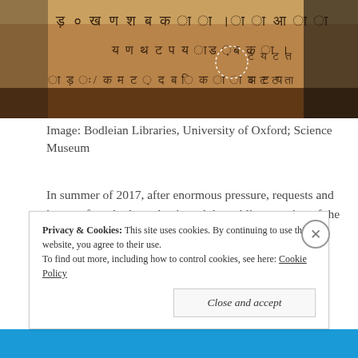[Figure (photo): Ancient manuscript/birch bark document fragment with Sanskrit or similar script written on it, photographed in close-up. A dotted circle highlights a particular section. The background is orange-brown aged material.]
Image: Bodleian Libraries, University of Oxford; Science Museum
In summer of 2017, after enormous pressure, requests and interest from both academia and the public, a section of the manuscript was approved to be carbon-dated. The result was bewildering.
Privacy & Cookies: This site uses cookies. By continuing to use this website, you agree to their use.
To find out more, including how to control cookies, see here: Cookie Policy
Close and accept